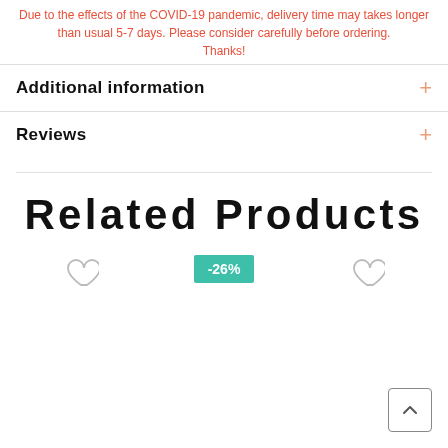Due to the effects of the COVID-19 pandemic, delivery time may takes longer than usual 5-7 days. Please consider carefully before ordering. Thanks!
Additional information
Reviews
Related Products
[Figure (other): Heart (wishlist) icon outline]
[Figure (other): Discount badge showing -26%]
[Figure (other): Heart (wishlist) icon outline]
[Figure (other): Back to top arrow button]